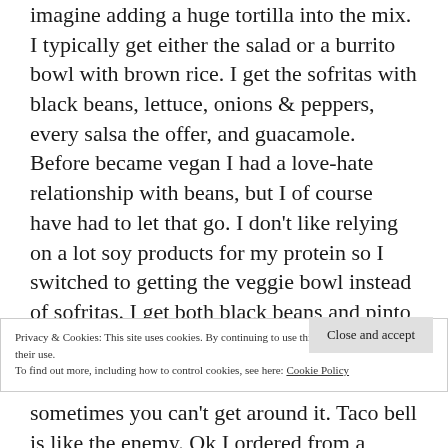imagine adding a huge tortilla into the mix. I typically get either the salad or a burrito bowl with brown rice. I get the sofritas with black beans, lettuce, onions & peppers, every salsa the offer, and guacamole. Before became vegan I had a love-hate relationship with beans, but I of course have had to let that go. I don't like relying on a lot soy products for my protein so I switched to getting the veggie bowl instead of sofritas. I get both black beans and pinto beans and the biggest plus is that guacamole is FREE!
Privacy & Cookies: This site uses cookies. By continuing to use this website, you agree to their use.
To find out more, including how to control cookies, see here: Cookie Policy
sometimes you can't get around it. Taco bell is like the enemy. Ok I ordered from a Chipotle once